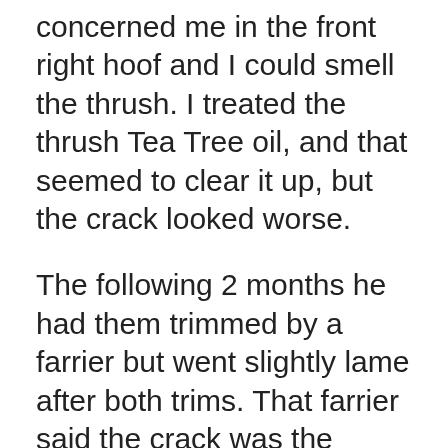concerned me in the front right hoof and I could smell the thrush. I treated the thrush Tea Tree oil, and that seemed to clear it up, but the crack looked worse.
The following 2 months he had them trimmed by a farrier but went slightly lame after both trims. That farrier said the crack was the beginning of WLD and with regular 4 week trims